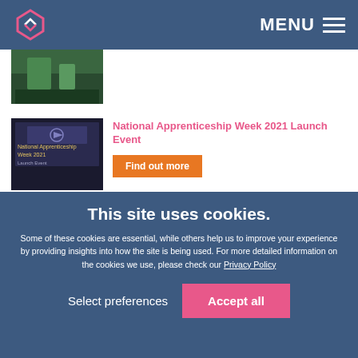MENU
[Figure (photo): Partial thumbnail image of outdoor/garden scene at top]
National Apprenticeship Week 2021 Launch Event
Find out more
[Figure (photo): Headshot of a blonde woman in professional attire]
Kreston Reeves strengthens Payroll team with Director appointment
Find out more
This site uses cookies.
Some of these cookies are essential, while others help us to improve your experience by providing insights into how the site is being used. For more detailed information on the cookies we use, please check our Privacy Policy
Select preferences
Accept all